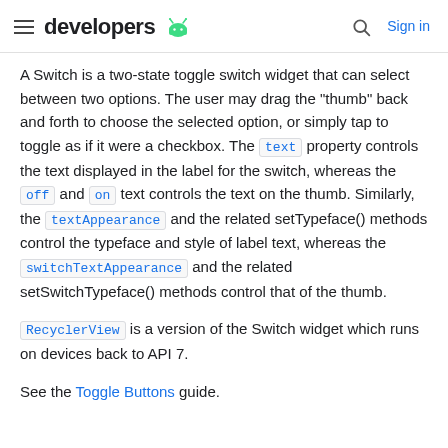developers
A Switch is a two-state toggle switch widget that can select between two options. The user may drag the "thumb" back and forth to choose the selected option, or simply tap to toggle as if it were a checkbox. The text property controls the text displayed in the label for the switch, whereas the off and on text controls the text on the thumb. Similarly, the textAppearance and the related setTypeface() methods control the typeface and style of label text, whereas the switchTextAppearance and the related setSwitchTypeface() methods control that of the thumb.
RecyclerView is a version of the Switch widget which runs on devices back to API 7.
See the Toggle Buttons guide.